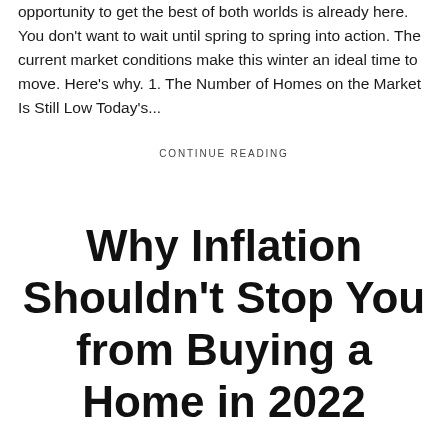opportunity to get the best of both worlds is already here. You don't want to wait until spring to spring into action. The current market conditions make this winter an ideal time to move. Here's why. 1. The Number of Homes on the Market Is Still Low Today's...
CONTINUE READING
Why Inflation Shouldn't Stop You from Buying a Home in 2022